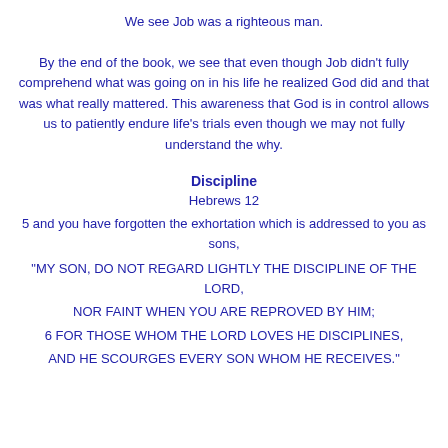We see Job was a righteous man.

By the end of the book, we see that even though Job didn't fully comprehend what was going on in his life he realized God did and that was what really mattered. This awareness that God is in control allows us to patiently endure life's trials even though we may not fully understand the why.
Discipline
Hebrews 12
5 and you have forgotten the exhortation which is addressed to you as sons,
“MY SON, DO NOT REGARD LIGHTLY THE DISCIPLINE OF THE LORD,
NOR FAINT WHEN YOU ARE REPROVED BY HIM;
6 FOR THOSE WHOM THE LORD LOVES HE DISCIPLINES,
AND HE SCOURGES EVERY SON WHOM HE RECEIVES.”